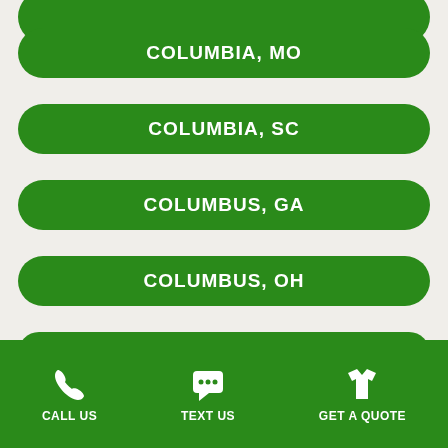COLUMBIA, MO
COLUMBIA, SC
COLUMBUS, GA
COLUMBUS, OH
CONCORD, CA
CORAL SPRINGS, FL
CALL US  TEXT US  GET A QUOTE